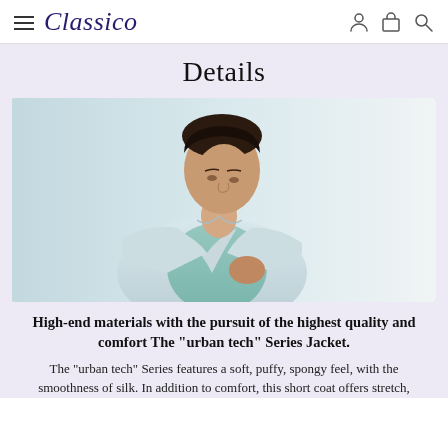Classico
Details
[Figure (photo): Young Asian man in a light grey blazer over a mint green shirt, looking downward, photographed against a light blue/white background]
High-end materials with the pursuit of the highest quality and comfort The "urban tech" Series Jacket.
The "urban tech" Series features a soft, puffy, spongy feel, with the smoothness of silk. In addition to comfort, this short coat offers stretch,